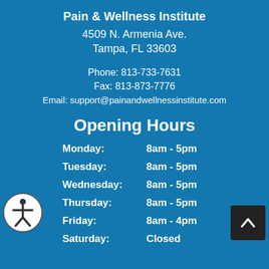Pain & Wellness Institute
4509 N. Armenia Ave.
Tampa, FL 33603
Phone: 813-733-7631
Fax: 813-873-7776
Email: support@painandwellnessinstitute.com
Opening Hours
| Day | Hours |
| --- | --- |
| Monday: | 8am - 5pm |
| Tuesday: | 8am - 5pm |
| Wednesday: | 8am - 5pm |
| Thursday: | 8am - 5pm |
| Friday: | 8am - 4pm |
| Saturday: | Closed |
[Figure (illustration): Accessibility icon - person in circle outline]
[Figure (illustration): Scroll to top button with upward chevron arrow on dark background]